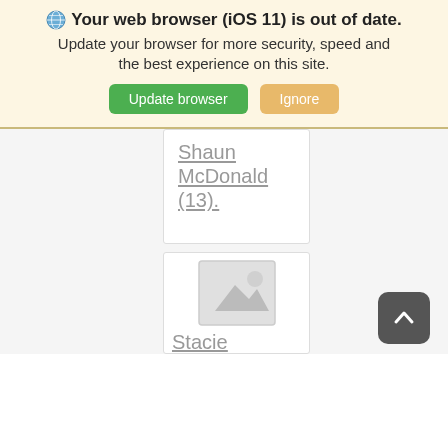Your web browser (iOS 11) is out of date. Update your browser for more security, speed and the best experience on this site. [Update browser] [Ignore]
Shaun McDonald (13).
[Figure (photo): Placeholder image icon for Stacie Hanson]
Stacie Hanson (6)